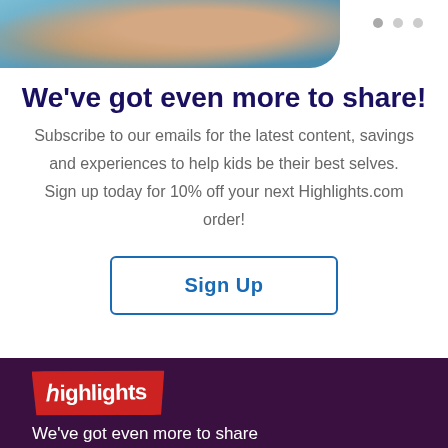[Figure (photo): Partial view of a child using a laptop, cropped at top of page, with blue background tones]
We've got even more to share!
Subscribe to our emails for the latest content, savings and experiences to help kids be their best selves. Sign up today for 10% off your next Highlights.com order!
[Figure (other): Sign Up button with blue border and blue text on white background]
[Figure (logo): Highlights logo in white text on red badge shape, on dark purple footer background]
We've got even more to share